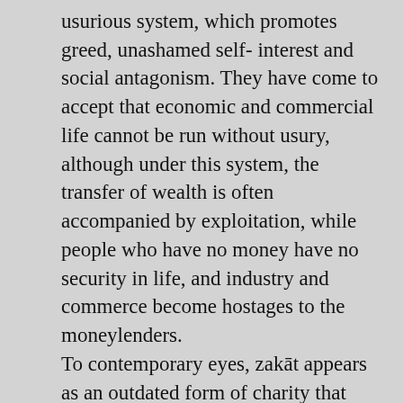usurious system, which promotes greed, unashamed self- interest and social antagonism. They have come to accept that economic and commercial life cannot be run without usury, although under this system, the transfer of wealth is often accompanied by exploitation, while people who have no money have no security in life, and industry and commerce become hostages to the moneylenders. To contemporary eyes, zakāt appears as an outdated form of charity that does not fit into modern economic or financial systems. Yet zakāt is paid out by people educated by Islam to implement Islamic laws and regulations, and to establish a